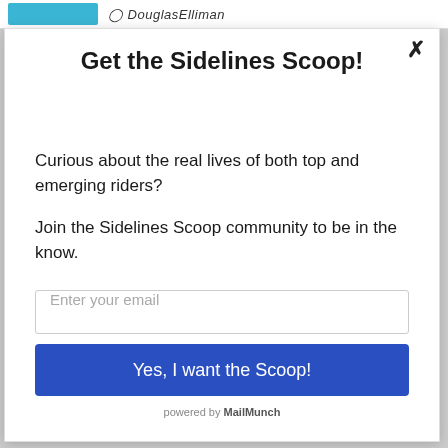[Figure (screenshot): Header bar with teal banner and Douglas Elliman logo text]
Get the Sidelines Scoop!
Curious about the real lives of both top and emerging riders?
Join the Sidelines Scoop community to be in the know.
Enter your email
Yes, I want the Scoop!
powered by MailMunch